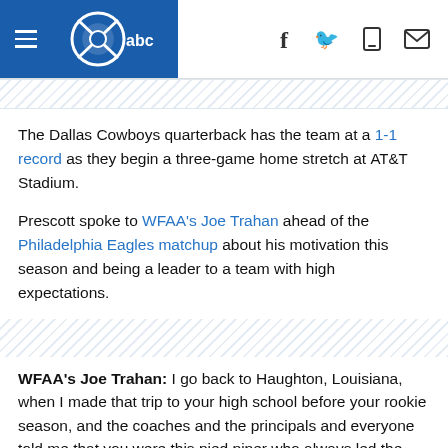WFAA abc — navigation header with logo and social icons
The Dallas Cowboys quarterback has the team at a 1-1 record as they begin a three-game home stretch at AT&T Stadium.
Prescott spoke to WFAA's Joe Trahan ahead of the Philadelphia Eagles matchup about his motivation this season and being a leader to a team with high expectations.
WFAA's Joe Trahan: I go back to Haughton, Louisiana, when I made that trip to your high school before your rookie season, and the coaches and the principals and everyone told me that you were this pied piper who always led the guys in the right direction, so I'm curious - even back then, Dak - what was the spark that compelled you to